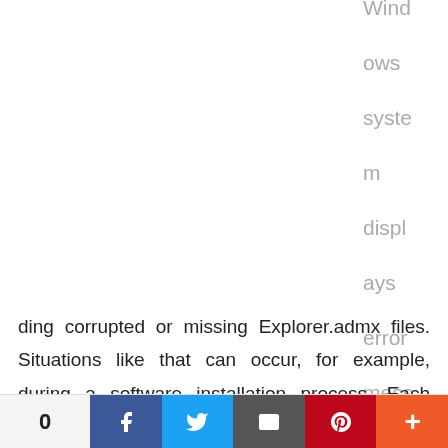Windows system displays error messages regarding corrupted or missing Explorer.admx files. Situations like that can occur, for example, during a software installation process. Each software program requires certain resources, libraries, and source data
0  [Facebook] [Twitter] [Email] [Pinterest] [More]